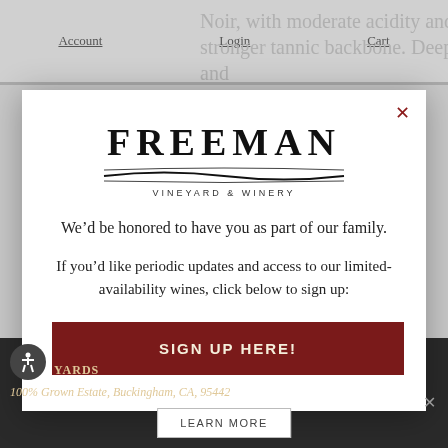Account   Login   Cart
Noir, with moderate acidity and a stronger tannic backbone. Deep and
[Figure (logo): Freeman Vineyard & Winery logo with stylized swoosh underline]
We’d be honored to have you as part of our family.
If you’d like periodic updates and access to our limited-availability wines, click below to sign up:
SIGN UP HERE!
100% Grown Estate, Buckingham, CA, 95442